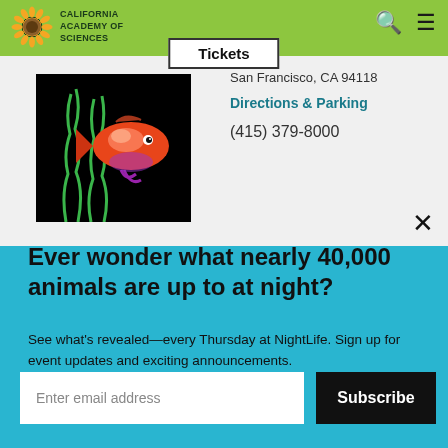California Academy of Sciences
San Francisco, CA 94118
Directions & Parking
(415) 379-8000
[Figure (photo): A red and orange fish with green seaweed on a black background — glowing/fluorescent style illustration]
×
Ever wonder what nearly 40,000 animals are up to at night?
See what's revealed—every Thursday at NightLife. Sign up for event updates and exciting announcements.
Enter email address
Subscribe